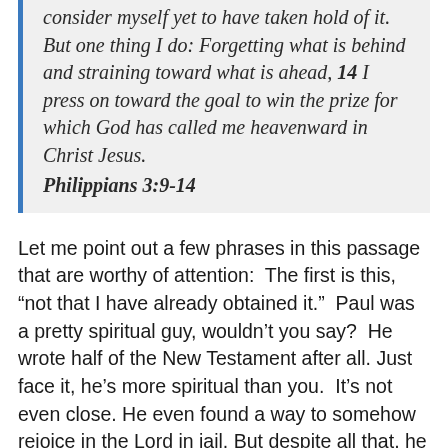consider myself yet to have taken hold of it. But one thing I do: Forgetting what is behind and straining toward what is ahead, 14 I press on toward the goal to win the prize for which God has called me heavenward in Christ Jesus. Philippians 3:9-14
Let me point out a few phrases in this passage that are worthy of attention:  The first is this, “not that I have already obtained it.”  Paul was a pretty spiritual guy, wouldn’t you say?  He wrote half of the New Testament after all. Just face it, he’s more spiritual than you.  It’s not even close. He even found a way to somehow rejoice in the Lord in jail. But despite all that, he didn’t think he had